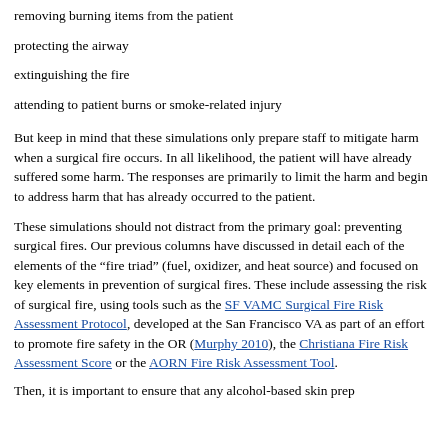removing burning items from the patient
protecting the airway
extinguishing the fire
attending to patient burns or smoke-related injury
But keep in mind that these simulations only prepare staff to mitigate harm when a surgical fire occurs. In all likelihood, the patient will have already suffered some harm. The responses are primarily to limit the harm and begin to address harm that has already occurred to the patient.
These simulations should not distract from the primary goal: preventing surgical fires. Our previous columns have discussed in detail each of the elements of the “fire triad” (fuel, oxidizer, and heat source) and focused on key elements in prevention of surgical fires. These include assessing the risk of surgical fire, using tools such as the SF VAMC Surgical Fire Risk Assessment Protocol, developed at the San Francisco VA as part of an effort to promote fire safety in the OR (Murphy 2010), the Christiana Fire Risk Assessment Score or the AORN Fire Risk Assessment Tool.
Then, it is important to ensure that any alcohol-based skin prep...